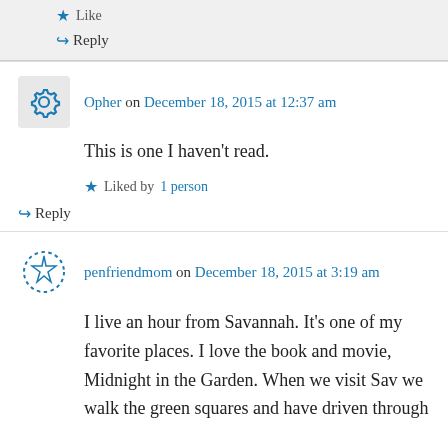I think you'd probably find it too.
Like
↪ Reply
Opher on December 18, 2015 at 12:37 am
This is one I haven't read.
Liked by 1 person
↪ Reply
penfriendmom on December 18, 2015 at 3:19 am
I live an hour from Savannah. It's one of my favorite places. I love the book and movie, Midnight in the Garden. When we visit Sav we walk the green squares and have driven through